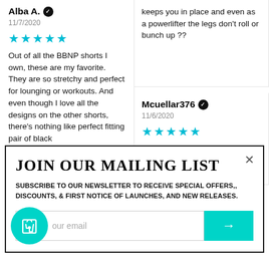Alba A. ✓
11/7/2020
★★★★★
Out of all the BBNP shorts I own, these are my favorite. They are so stretchy and perfect for lounging or workouts. And even though I love all the designs on the other shorts, there's nothing like perfect fitting pair of black
keeps you in place and even as a powerlifter the legs don't roll or bunch up ??
Mcuellar376 ✓
11/6/2020
★★★★★
I like how soft they feel, high waist and in my favorite color, black
JOIN OUR MAILING LIST
SUBSCRIBE TO OUR NEWSLETTER TO RECEIVE SPECIAL OFFERS,, DISCOUNTS, & FIRST NOTICE OF LAUNCHES, AND NEW RELEASES.
our email